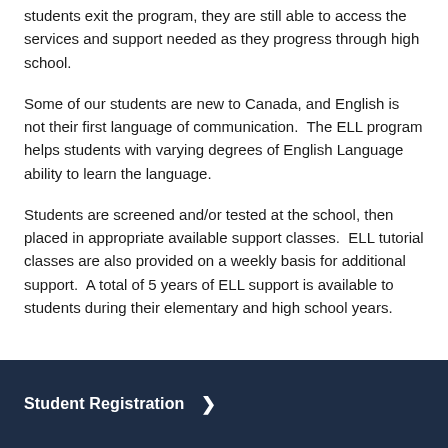students exit the program, they are still able to access the services and support needed as they progress through high school.
Some of our students are new to Canada, and English is not their first language of communication.  The ELL program helps students with varying degrees of English Language ability to learn the language.
Students are screened and/or tested at the school, then placed in appropriate available support classes.  ELL tutorial classes are also provided on a weekly basis for additional support.  A total of 5 years of ELL support is available to students during their elementary and high school years.
Student Registration >